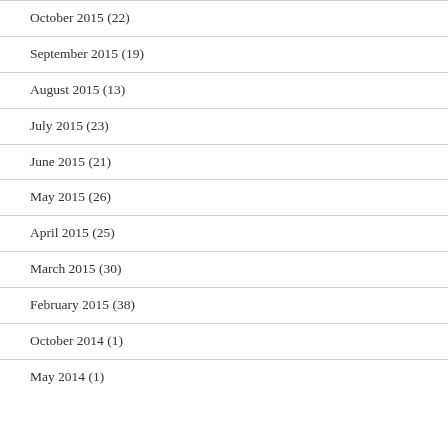October 2015 (22)
September 2015 (19)
August 2015 (13)
July 2015 (23)
June 2015 (21)
May 2015 (26)
April 2015 (25)
March 2015 (30)
February 2015 (38)
October 2014 (1)
May 2014 (1)